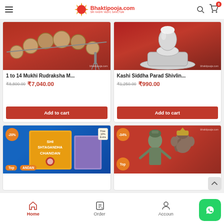Bhaktipooja.com - Sri Kashi Vedic Sanctum
[Figure (photo): Rudraksha mala beads on red background with bhaktipooja.com watermark]
1 to 14 Mukhi Rudraksha M...
₹8,800.00  ₹7,040.00
Add to cart
[Figure (photo): Silver Shivling diya on red background with bhaktipooja.com watermark]
Kashi Siddha Parad Shivlin...
₹1,250.00  ₹990.00
Add to cart
[Figure (photo): Ashtagandha Chandan product box on blue background with -20% badge and Free 10% Extra label, Top badge]
[Figure (photo): Metal Ganesha statue on red background with -34% badge and Top badge, bhaktipooja.com watermark]
Home  Order  Account